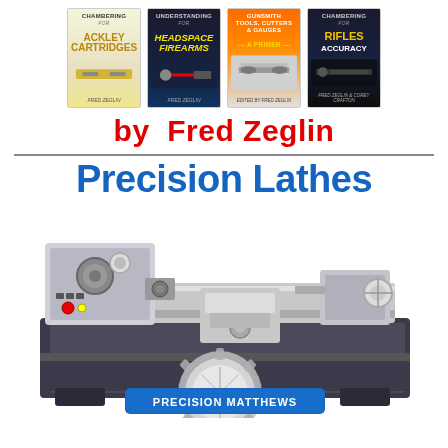[Figure (illustration): Four book covers by Fred Zeglin: 'Chambering for Ackley Cartridges', 'Understanding Headspace for Firearms', 'Gunsmith Tools, Cutters & Gauges — A Primer', and 'Chambering Rifles for Accuracy']
by  Fred Zeglin
Precision Lathes
[Figure (photo): A precision metal lathe machine (Precision Matthews brand) shown against a white background, with the Precision Matthews logo overlaid at the bottom center.]